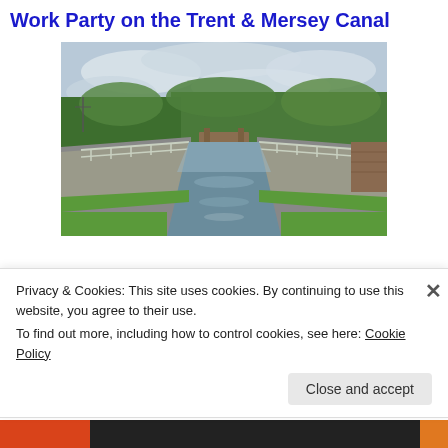Work Party on the Trent & Mersey Canal
[Figure (photo): Photograph of the Trent & Mersey Canal showing a lock with metal railings on both sides, calm reflective water, green trees and vegetation, and an overcast sky.]
10 May 2014
Privacy & Cookies: This site uses cookies. By continuing to use this website, you agree to their use.
To find out more, including how to control cookies, see here: Cookie Policy
Close and accept